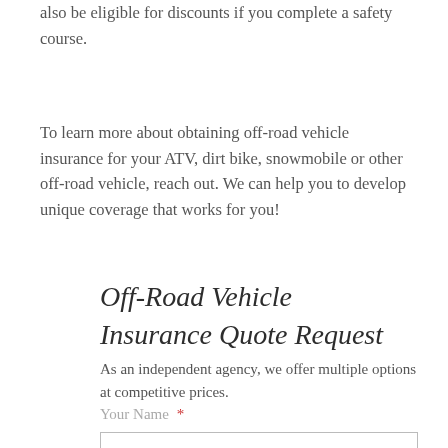also be eligible for discounts if you complete a safety course.
To learn more about obtaining off-road vehicle insurance for your ATV, dirt bike, snowmobile or other off-road vehicle, reach out. We can help you to develop unique coverage that works for you!
Off-Road Vehicle Insurance Quote Request
As an independent agency, we offer multiple options at competitive prices.
Your Name *